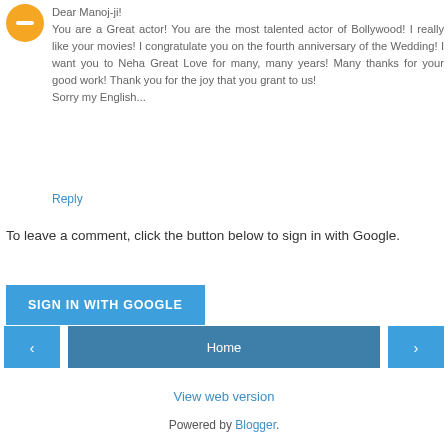[Figure (illustration): Orange/yellow Blogger avatar icon (circle with minus/B symbol)]
Dear Manoj-ji!
You are a Great actor! You are the most talented actor of Bollywood! I really like your movies! I congratulate you on the fourth anniversary of the Wedding! I want you to Neha Great Love for many, many years! Many thanks for your good work! Thank you for the joy that you grant to us!
Sorry my English...
Reply
To leave a comment, click the button below to sign in with Google.
[Figure (other): Blue button labeled SIGN IN WITH GOOGLE]
[Figure (other): Navigation bar with left arrow, Home button, and right arrow]
View web version
Powered by Blogger.